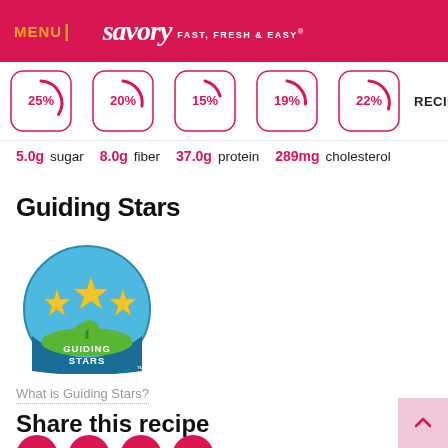MENU | savory FAST, FRESH & EASY®
[Figure (infographic): Five circular nutrient wheel gauges showing percentages: 25%, 20%, 15%, 19%, 22%, with a RECIPES HOME dropdown button to the right]
5.0g sugar  8.0g fiber  37.0g protein  289mg cholesterol
Guiding Stars
[Figure (logo): Guiding Stars circular logo with three gold stars, green plant, blue sky background, and text GUIDING STARS with TM mark]
What is Guiding Stars?
Share this recipe
[Figure (infographic): Four social media share buttons: email (envelope), Pinterest (P), Facebook (f), Twitter (bird), all in crimson circles]